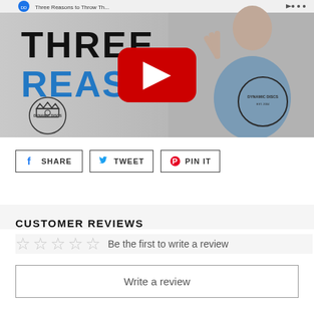[Figure (screenshot): YouTube video thumbnail showing a man holding up three fingers wearing a Dynamic Discs t-shirt. Text reads THREE REASONS with Dynamic Discs branding and a YouTube play button overlay.]
SHARE
TWEET
PIN IT
CUSTOMER REVIEWS
Be the first to write a review
Write a review